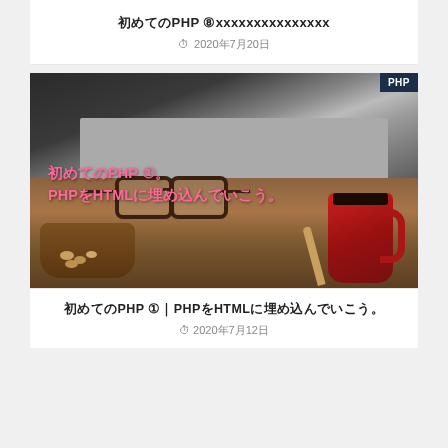初めてのPHP ⑧ xxxxxxxxxxxxxxx
2020年7月20日
[Figure (photo): Photo of a laptop with keyboard, red coffee mug, wooden bowl with nuts, glasses, and wooden spoon on a wooden table. Overlay text reads: 初めてのPHP ①。PHPをHTMLに埋め込んでいこう。 with PHP badge in top-right corner.]
初めてのPHP ①｜PHPをHTMLに埋め込んでいこう。
2020年7月12日